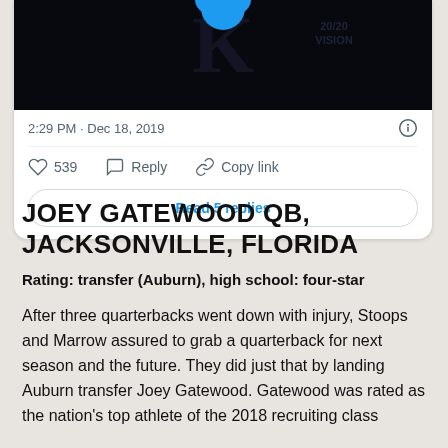[Figure (screenshot): Cropped Twitter/X post screenshot showing a dark image with Kentucky Wildcats branding (20/20 Vision), timestamp '2:29 PM · Dec 18, 2019', like count 539, Reply, Copy link actions, and a 'Read 5 replies' button.]
JOEY GATEWOOD QB, JACKSONVILLE, FLORIDA
Rating: transfer (Auburn), high school: four-star
After three quarterbacks went down with injury, Stoops and Marrow assured to grab a quarterback for next season and the future. They did just that by landing Auburn transfer Joey Gatewood. Gatewood was rated as the nation's top athlete of the 2018 recruiting class